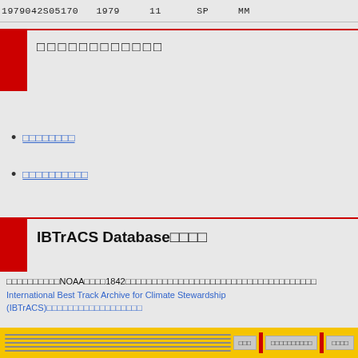1979042S05170  1979  11  SP  MM
（Japanese characters）
（Japanese link text）
（Japanese link text）
IBTrACS Database（Japanese characters）
（Japanese text）NOAA（Japanese）1842（Japanese text）International Best Track Archive for Climate Stewardship (IBTrACS)（Japanese text）
（Japanese）2022-08-26
（Japanese footer navigation）